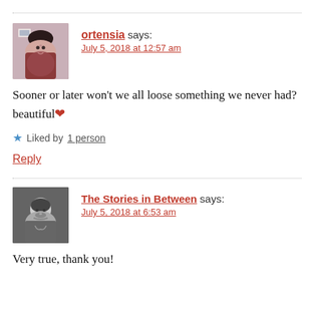ortensia says: July 5, 2018 at 12:57 am
Sooner or later won't we all loose something we never had?beautiful❤
Liked by 1 person
Reply
The Stories in Between says: July 5, 2018 at 6:53 am
Very true, thank you!